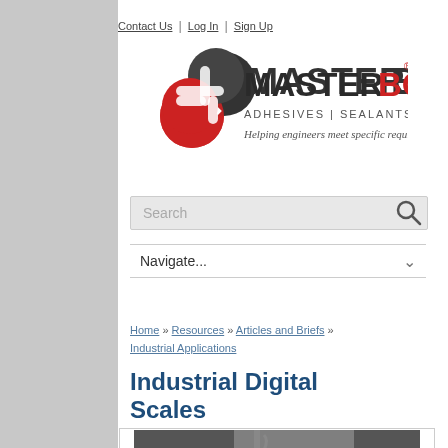Contact Us | Log In | Sign Up
[Figure (logo): Master Bond logo with icon and text: MASTERBOND ADHESIVES | SEALANTS | COATINGS. Helping engineers meet specific requirements]
Search
Navigate...
Home » Resources » Articles and Briefs » Industrial Applications
Industrial Digital Scales
[Figure (photo): Photo of an industrial digital hanging scale (crane scale) with yellow casing in a warehouse/industrial setting]